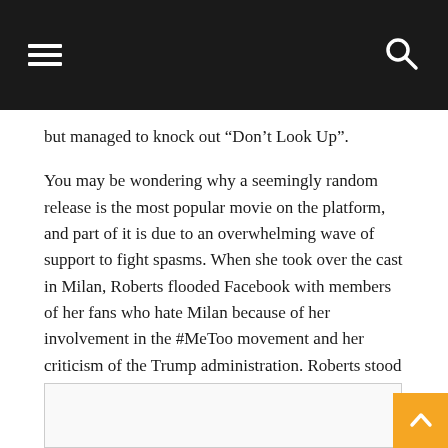[navigation bar with hamburger menu and search icon]
but managed to knock out “Don’t Look Up”.
You may be wondering why a seemingly random release is the most popular movie on the platform, and part of it is due to an overwhelming wave of support to fight spasms. When she took over the cast in Milan, Roberts flooded Facebook with members of her fans who hate Milan because of her involvement in the #MeToo movement and her criticism of the Trump administration. Roberts stood in the casting of Milan and did not care what a bunch of bigots had to say, and there was a push from progressives to support the film in an effort to combat the hate campaign launched by the #GoWokeGoBroke crowd. Well, it worked, because “Brazen” is the movie with the most screenings this week.
[Figure (other): Partial image placeholder box at the bottom of the page]